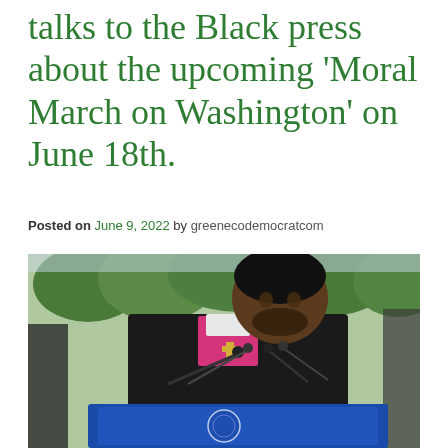talks to the Black press about the upcoming 'Moral March on Washington' on June 18th.
Posted on June 9, 2022 by greenecodemocratcom
[Figure (photo): A Black man in a dark suit with a pink shirt and bishop's cross collar, leaning forward speaking at a blue podium covered with microphones, outdoors with trees in the background.]